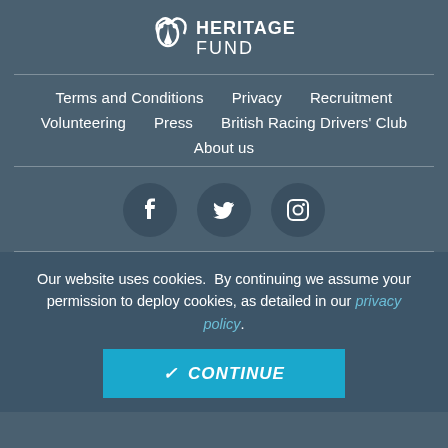[Figure (logo): National Lottery Heritage Fund logo — stylised hand/clover icon with text HERITAGE FUND in white on dark blue-grey background]
Terms and Conditions
Privacy
Recruitment
Volunteering
Press
British Racing Drivers' Club
About us
[Figure (illustration): Three circular social media icons: Facebook (f), Twitter (bird), Instagram (camera) on dark circles]
Our website uses cookies.  By continuing we assume your permission to deploy cookies, as detailed in our privacy policy.
✓ CONTINUE